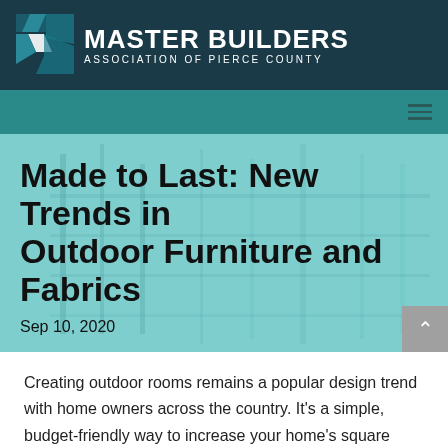[Figure (logo): Master Builders Association of Pierce County logo with geometric teal and white building icon and white text]
[Figure (screenshot): Teal navigation bar with hamburger menu icon on the right]
[Figure (photo): Hero banner with teal-tinted building/architecture background image]
Made to Last: New Trends in Outdoor Furniture and Fabrics
Sep 10, 2020
Creating outdoor rooms remains a popular design trend with home owners across the country. It's a simple, budget-friendly way to increase your home's square